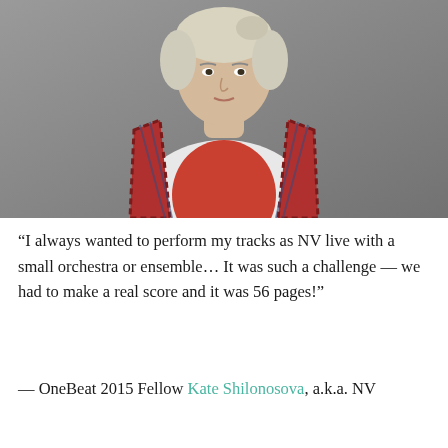[Figure (photo): Portrait photo of a young woman with platinum blonde hair pulled back, wearing a red and white plaid flannel shirt open over a white t-shirt with a large red circle/oval graphic. She stands against a gray background, looking slightly upward.]
“I always wanted to perform my tracks as NV live with a small orchestra or ensemble… It was such a challenge — we had to make a real score and it was 56 pages!”
— OneBeat 2015 Fellow Kate Shilonosova, a.k.a. NV